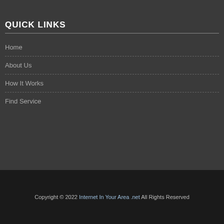QUICK LINKS
Home
About Us
How It Works
Find Service
Copyright © 2022 Internet In Your Area .net All Rights Reserved